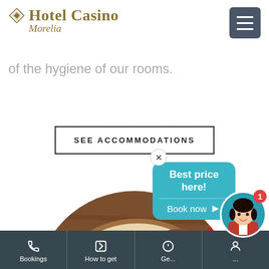Hotel Casino Morelia
of the hygiene of our rooms.
SEE ACCOMMODATIONS
[Figure (photo): Circular cropped photo of Mexican food dishes on a wooden table — sauces, tortillas, spices, and cream in clay bowls]
Best price here!
Book now
Bookings | How to get | Get... | ...